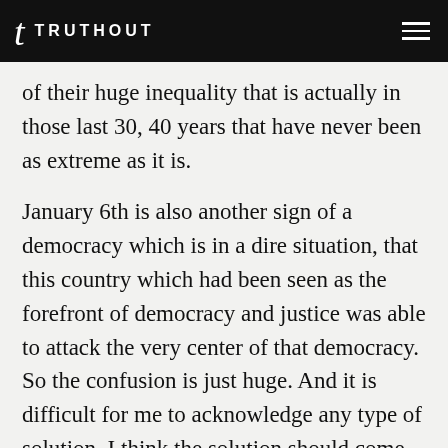TRUTHOUT
of their huge inequality that is actually in those last 30, 40 years that have never been as extreme as it is.
January 6th is also another sign of a democracy which is in a dire situation, that this country which had been seen as the forefront of democracy and justice was able to attack the very center of that democracy. So the confusion is just huge. And it is difficult for me to acknowledge any type of solution. I think the solution should come from us, from all of us,